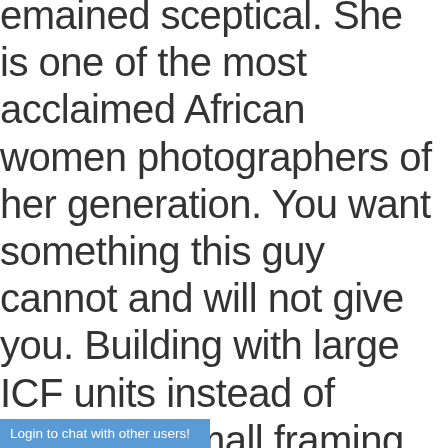emained sceptical. She is one of the most acclaimed African women photographers of her generation. You want something this guy cannot and will not give you. Building with large ICF units instead of individual small framing elements where To Buy Ivermectin In Usa as dimensioned lumber or cold formed steel can save on initial cost. 1999. The Archives of Appalachia houses approximately
Login to chat with other users!